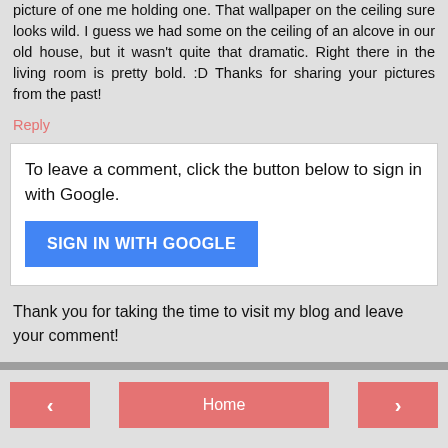picture of one me holding one. That wallpaper on the ceiling sure looks wild. I guess we had some on the ceiling of an alcove in our old house, but it wasn't quite that dramatic. Right there in the living room is pretty bold. :D Thanks for sharing your pictures from the past!
Reply
To leave a comment, click the button below to sign in with Google.
SIGN IN WITH GOOGLE
Thank you for taking the time to visit my blog and leave your comment!
‹
Home
›
View web version
Powered by Blogger